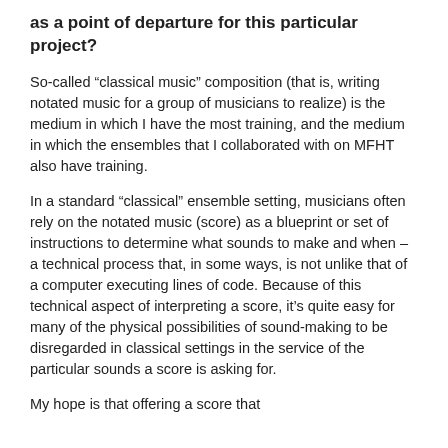as a point of departure for this particular project?
So-called “classical music” composition (that is, writing notated music for a group of musicians to realize) is the medium in which I have the most training, and the medium in which the ensembles that I collaborated with on MFHT also have training.
In a standard “classical” ensemble setting, musicians often rely on the notated music (score) as a blueprint or set of instructions to determine what sounds to make and when – a technical process that, in some ways, is not unlike that of a computer executing lines of code. Because of this technical aspect of interpreting a score, it’s quite easy for many of the physical possibilities of sound-making to be disregarded in classical settings in the service of the particular sounds a score is asking for.
My hope is that offering a score that